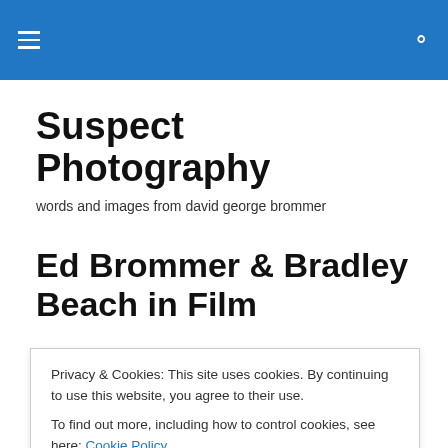Suspect Photography
Suspect Photography
words and images from david george brommer
Ed Brommer & Bradley Beach in Film
This year I decided that I wanted to continue my work
Privacy & Cookies: This site uses cookies. By continuing to use this website, you agree to their use.
To find out more, including how to control cookies, see here: Cookie Policy
recently influenced by Rodney Smith and Paul Caponigro